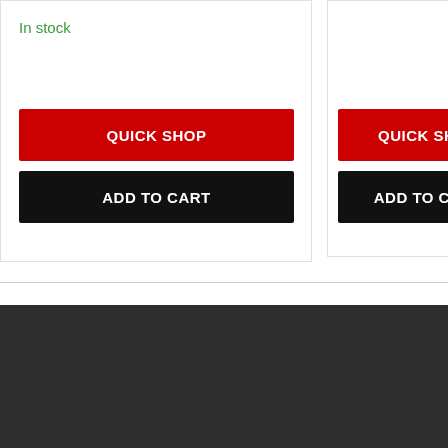In stock
QUICK SHOP
ADD TO CART
QUICK SHOP
ADD TO CART
Contact
Information and Services
Brand Stores